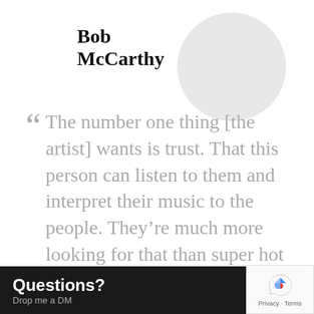Bob McCarthy
[Figure (illustration): Circular profile photo placeholder, light gray circle in the upper right area]
“ The number one thing [the artist] wants is trust. That this person can listen to them and interpret their music to the people. They’re much more looking for that than super hot shot technical chops.
Questions? Drop me a DM